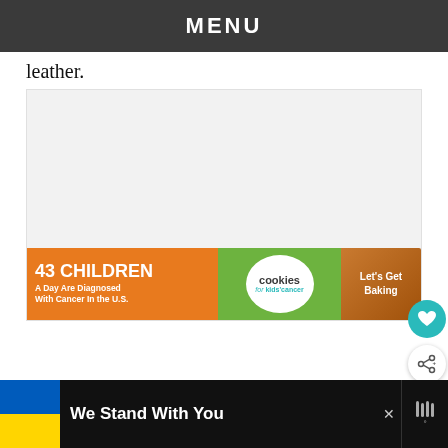MENU
leather.
[Figure (other): Advertisement banner: '43 CHILDREN A Day Are Diagnosed With Cancer In the U.S.' with Cookies for Kids' Cancer logo and 'Let's Get Baking' text on brown background]
[Figure (infographic): Floating social buttons: heart (teal) and share buttons on right side]
[Figure (other): What's Next panel: thumbnail image with 'WHAT'S NEXT → Celebrities Pile on...' text]
[Figure (other): Bottom banner: Ukraine flag colors with 'We Stand With You' text and weather widget logo]